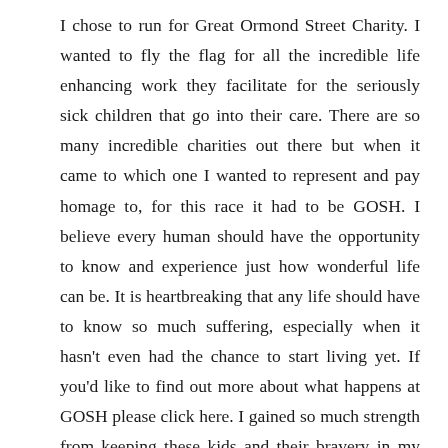I chose to run for Great Ormond Street Charity. I wanted to fly the flag for all the incredible life enhancing work they facilitate for the seriously sick children that go into their care. There are so many incredible charities out there but when it came to which one I wanted to represent and pay homage to, for this race it had to be GOSH. I believe every human should have the opportunity to know and experience just how wonderful life can be. It is heartbreaking that any life should have to know so much suffering, especially when it hasn't even had the chance to start living yet. If you'd like to find out more about what happens at GOSH please click here. I gained so much strength from keeping these kids and their bravery in my thoughts whilst I ran. To donate please visit the website; gosh.org. It was a privilege to run on